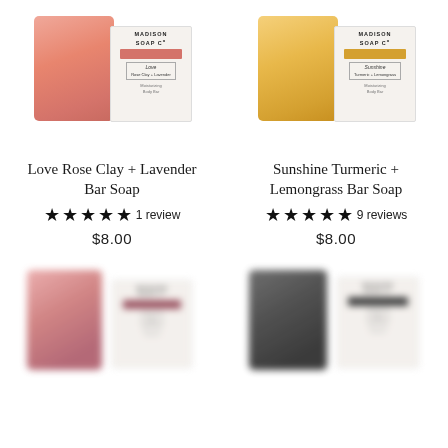[Figure (photo): Madison Soap Co Love Rose Clay + Lavender bar soap product with pink soap bar and white branded packaging box]
[Figure (photo): Madison Soap Co Sunshine Turmeric + Lemongrass bar soap product with yellow/golden soap bar and white branded packaging box]
Love Rose Clay + Lavender Bar Soap
★★★★★ 1 review
$8.00
Sunshine Turmeric + Lemongrass Bar Soap
★★★★★ 9 reviews
$8.00
[Figure (photo): Blurred image of a rose/maroon colored soap bar and packaging (partially visible, bottom of page)]
[Figure (photo): Blurred image of a dark/charcoal colored soap bar and packaging (partially visible, bottom of page)]